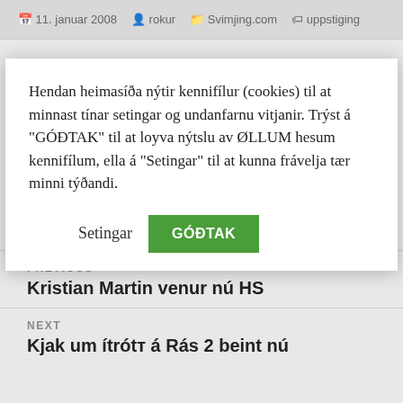11. januar 2008  rokur  Svimjing.com  uppstiging
Ger viðmerking
Hendan heimasíða nýtir kennifílur (cookies) til at minnast tínar setingar og undanfarnu vitjanir. Trýst á "GÓÐTAK" til at loyva nýtslu av ØLLUM hesum kennifílum, ella á "Setingar" til at kunna frávelja tær minni týðandi.
Setingar  GÓÐTAK
PREVIOUS
Kristian Martin venur nú HS
NEXT
Kjak um ítrótт á Rás 2 beint nú